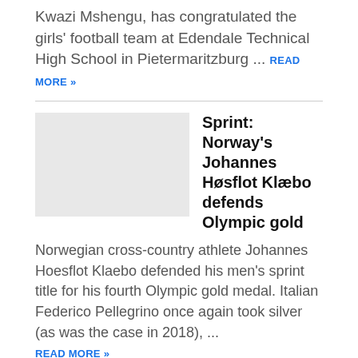Kwazi Mshengu, has congratulated the girls' football team at Edendale Technical High School in Pietermaritzburg ... READ MORE »
[Figure (photo): Thumbnail image placeholder for Sprint Norway article]
Sprint: Norway's Johannes Høsflot Klæbo defends Olympic gold
Norwegian cross-country athlete Johannes Hoesflot Klaebo defended his men's sprint title for his fourth Olympic gold medal. Italian Federico Pellegrino once again took silver (as was the case in 2018), ...
READ MORE »
[Figure (photo): Thumbnail image placeholder for Logan Mailloux article]
Logan Mailloux ratera deux à trois semaines d'activités